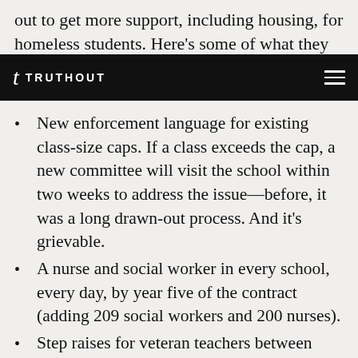out to get more support, including housing, for homeless students. Here's some of what they
t TRUTHOUT
New enforcement language for existing class-size caps. If a class exceeds the cap, a new committee will visit the school within two weeks to address the issue—before, it was a long drawn-out process. And it's grievable.
A nurse and social worker in every school, every day, by year five of the contract (adding 209 social workers and 200 nurses).
Step raises for veteran teachers between years